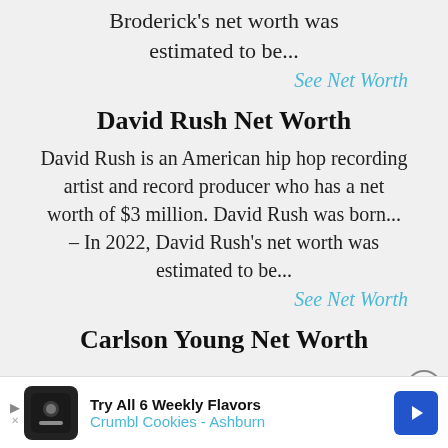Broderick's net worth was estimated to be...
See Net Worth
David Rush Net Worth
David Rush is an American hip hop recording artist and record producer who has a net worth of $3 million. David Rush was born... – In 2022, David Rush's net worth was estimated to be...
See Net Worth
Carlson Young Net Worth
[Figure (other): Advertisement banner for Crumbl Cookies - Ashburn: Try All 6 Weekly Flavors]